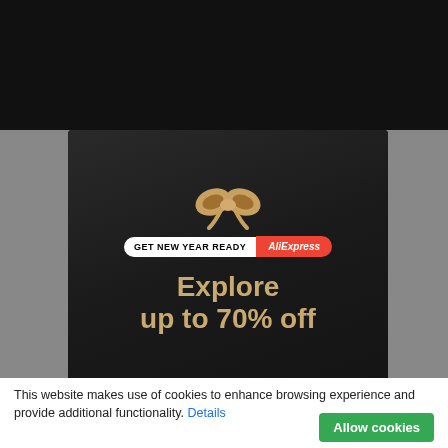[Figure (screenshot): Dark website background with a popup advertisement for AliExpress. The popup shows a gift bow graphic, a badge reading 'GET NEW YEAR READY AliExpress', and promotional text 'Explore up to 70% off'. A close (×) button is in the upper right of the popup. Gold confetti ribbons decorate the corners.]
This website makes use of cookies to enhance browsing experience and provide additional functionality. Details
Allow cookies